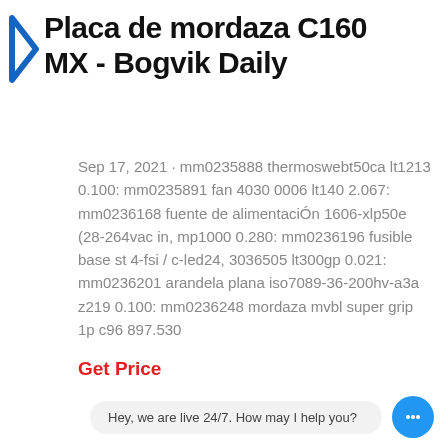Placa de mordaza C160 MX - Bogvik Daily
Sep 17, 2021 · mm0235888 thermoswеbt50ca lt1213 0.100: mm0235891 fan 4030 0006 lt140 2.067: mm0236168 fuente de alimentaciÓn 1606-xlp50e (28-264vac in, mp1000 0.280: mm0236196 fusible base st 4-fsi / c-led24, 3036505 lt300gp 0.021: mm0236201 arandela plana iso7089-36-200hv-a3a z219 0.100: mm0236248 mordaza mvbl super grip 1p c96 897.530
Get Price
Hey, we are live 24/7. How may I help you?